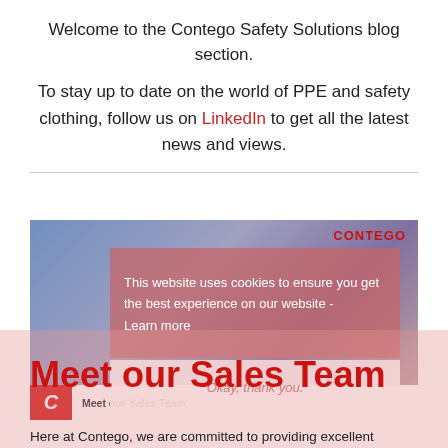Welcome to the Contego Safety Solutions blog section.
To stay up to date on the world of PPE and safety clothing, follow us on LinkedIn to get all the latest news and views.
[Figure (screenshot): Screenshot of Contego website blog article 'Meet our Sales Team' with a cookie consent overlay showing 'This website uses cookies to ensure you get the best experience on our website - Learn more' and an 'Okay, thank you.' button, with the CONTEGO logo visible in the top right of the image.]
Meet our Sales Team
Here at Contego, we are committed to providing excellent